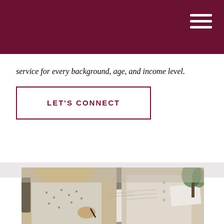service for every background, age, and income level.
LET'S CONNECT
[Figure (photo): Two women sitting at a desk reviewing and signing documents, with papers spread on the table between them.]